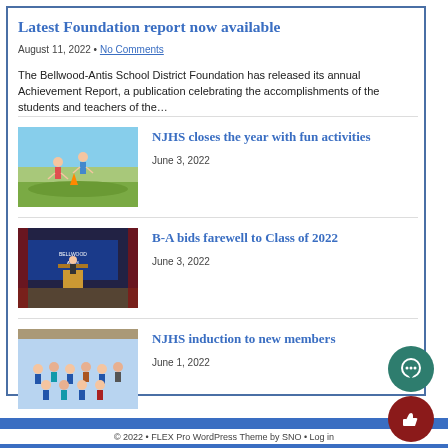Latest Foundation report now available
August 11, 2022 • No Comments
The Bellwood-Antis School District Foundation has released its annual Achievement Report, a publication celebrating the accomplishments of the students and teachers of the…
[Figure (photo): Students playing outdoor activity/game on a field]
NJHS closes the year with fun activities
June 3, 2022
[Figure (photo): Graduation or ceremony scene with blue backdrop and podium]
B-A bids farewell to Class of 2022
June 3, 2022
[Figure (photo): Group photo of students/staff indoors]
NJHS induction to new members
June 1, 2022
© 2022 • FLEX Pro WordPress Theme by SNO • Log in